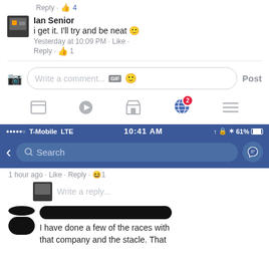[Figure (screenshot): Facebook comment section screenshot. Ian Senior's comment: 'i get it. I'll try and be neat 🙂', posted Yesterday at 10:09 PM. Reply with 1 like. Comment input box with camera icon, 'Write a comment...' placeholder, GIF button, smiley, and Post button. Navigation bar with icons.]
[Figure (screenshot): Second screenshot: T-Mobile LTE 10:41 AM 61% battery. Facebook search bar with back arrow and messenger icon.]
1 hour ago · Like · Reply · 😆1
Write a reply...
I have done a few of the races with that company and the stacle. That